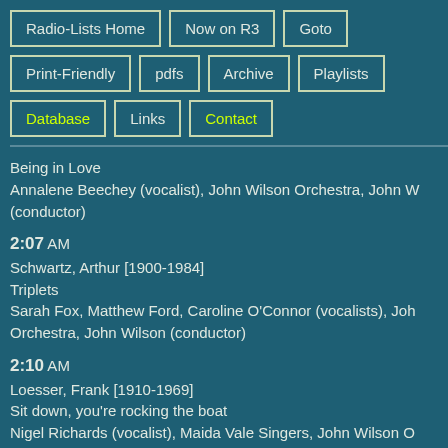Radio-Lists Home
Now on R3
Goto
Print-Friendly
pdfs
Archive
Playlists
Database
Links
Contact
Being in Love
Annalene Beechey (vocalist), John Wilson Orchestra, John W (conductor)
2:07 AM
Schwartz, Arthur [1900-1984]
Triplets
Sarah Fox, Matthew Ford, Caroline O'Connor (vocalists), John Wilson Orchestra, John Wilson (conductor)
2:10 AM
Loesser, Frank [1910-1969]
Sit down, you're rocking the boat
Nigel Richards (vocalist), Maida Vale Singers, John Wilson Orchestra, John Wilson (conductor)